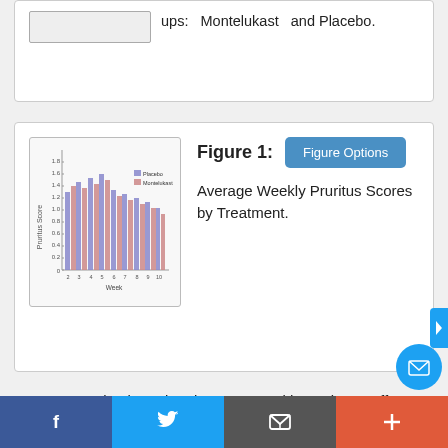ups: Montelukast and Placebo.
[Figure (grouped-bar-chart): Bar chart showing average weekly pruritus scores by treatment group (Placebo and Montelukast) across 10 weeks/visits]
Figure 1: Average Weekly Pruritus Scores by Treatment.
IGA appeared to be a timed response, with maximum effect noted by visit 4. The severity scoring showed the same trend (Table 4).